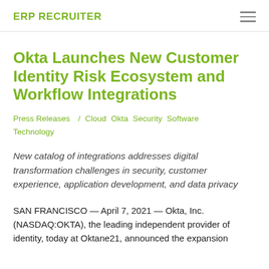ERP RECRUITER
Okta Launches New Customer Identity Risk Ecosystem and Workflow Integrations
Press Releases / Cloud Okta Security Software Technology
New catalog of integrations addresses digital transformation challenges in security, customer experience, application development, and data privacy
SAN FRANCISCO — April 7, 2021 — Okta, Inc. (NASDAQ:OKTA), the leading independent provider of identity, today at Oktane21, announced the expansion